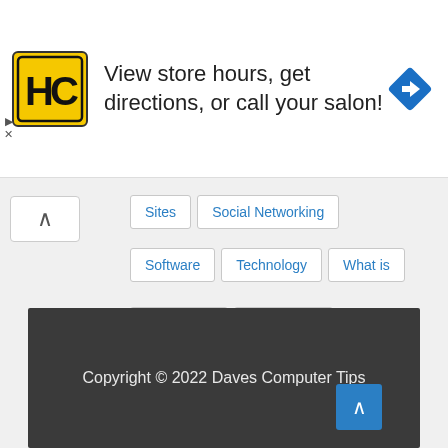[Figure (infographic): Advertisement banner: HC logo (yellow/black), text 'View store hours, get directions, or call your salon!', navigation arrow icon (blue diamond)]
Sites
Social Networking
Software
Technology
What is
Windows 7
Windows 8
Windows 10
Windows 11
Word 2007
Word 2010
Copyright © 2022 Daves Computer Tips